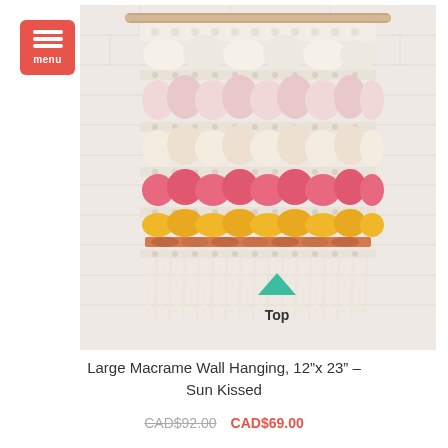[Figure (photo): A large macrame wall hanging displayed against a white brick wall. The piece features chunky woven yarn bands in cream/ivory at top, pink gradient tones in the middle sections, bright coral/hot pink band, and a yellow/gold section near the bottom, with cream fringe at the base hanging from a wooden dowel. A teal/green upward-pointing chevron arrow labeled 'Top' appears at the bottom of the image.]
Large Macrame Wall Hanging, 12"x 23" – Sun Kissed
CAD$92.00  CAD$69.00